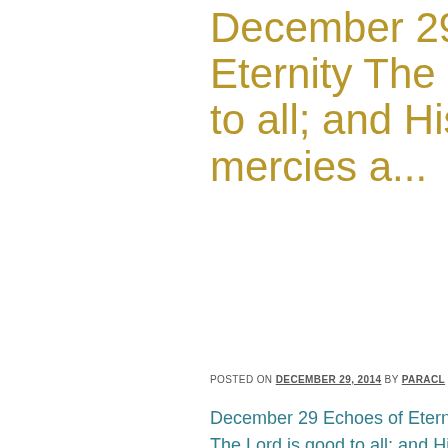December 29 Eternity The Lord is good to all; and His tender mercies a...
POSTED ON DECEMBER 29, 2014 BY PARACL
December 29 Echoes of Eternity
The Lord is good to all; and His tend... Psalm 145:9
In My mercy there is provision for y... strange to you, and sometimes you... doing, you are rebelling against My...
A frightened bird can do itself much... loving attention of a well-intentione... harm to yourself in "kicking against...